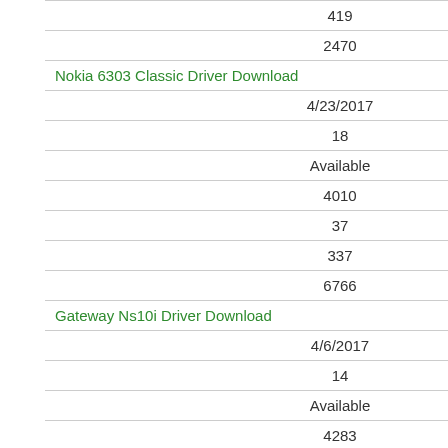| 419 |
| 2470 |
| Nokia 6303 Classic Driver Download |
| 4/23/2017 |
| 18 |
| Available |
| 4010 |
| 37 |
| 337 |
| 6766 |
| Gateway Ns10i Driver Download |
| 4/6/2017 |
| 14 |
| Available |
| 4283 |
| 259 |
| 4932 |
| 7392 |
| Sony Vgc Lt36e Driver Download |
| 4/12/2017 |
| 12 |
| Available |